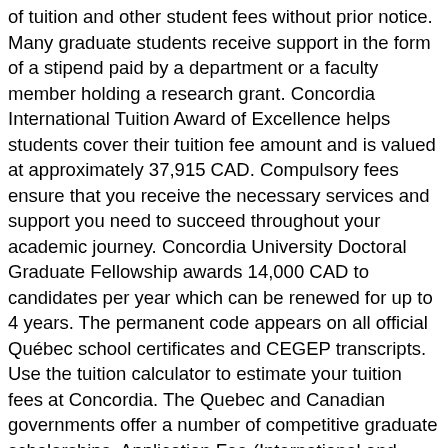of tuition and other student fees without prior notice. Many graduate students receive support in the form of a stipend paid by a department or a faculty member holding a research grant. Concordia International Tuition Award of Excellence helps students cover their tuition fee amount and is valued at approximately 37,915 CAD. Compulsory fees ensure that you receive the necessary services and support you need to succeed throughout your academic journey. Concordia University Doctoral Graduate Fellowship awards 14,000 CAD to candidates per year which can be renewed for up to 4 years. The permanent code appears on all official Québec school certificates and CEGEP transcripts. Use the tuition calculator to estimate your tuition fees at Concordia. The Quebec and Canadian governments offer a number of competitive graduate scholarships. Application Fee (International and Domestic Undergrad., non-refundable) $50. Regional Cohorts - Program Fee. Independent Students. Concordia University of Edmonton is proud to offer international students excellent university-level bachelor degree programs. $50. Lutheran Educators